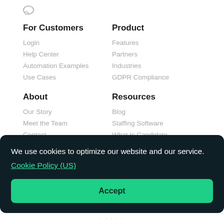[Figure (logo): Small speech bubble / chat icon logo in light gray]
For Customers
Login
Help Center
Automation Examples
Use Cases
Product
Features
Partners
Industries
GDPR Compliance
About
Our Story
Meet the Team
Contact
News
Resources
Blog
Staffing Software
What Is Candidate Engagement?
Recruitment Marketing Guide
We use cookies to optimize our website and our service.
Cookie Policy (US)
Accept